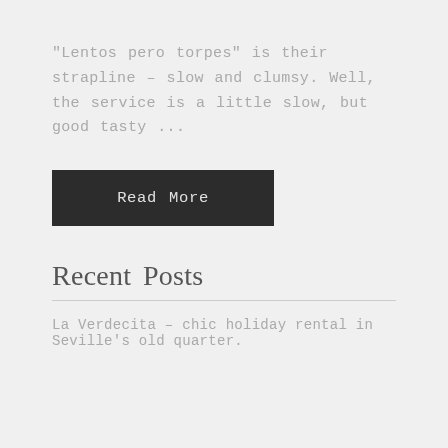"Lentos pero torpes" is their strapline – slow and clumsy. Well, the service is a little slow, but good tasty ...
Read More
Search
SEARCH
Recent Posts
La Verdecita – chic holiday rental in Seville's old quarter.